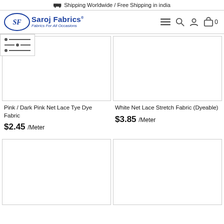🚚 Shipping Worldwide / Free Shipping in india
[Figure (logo): Saroj Fabrics logo — oval with SF initials and brand name 'Saroj Fabrics®' with tagline 'Fabrics For All Occasions']
Pink / Dark Pink Net Lace Tye Dye Fabric
$2.45 /Meter
White Net Lace Stretch Fabric (Dyeable)
$3.85 /Meter